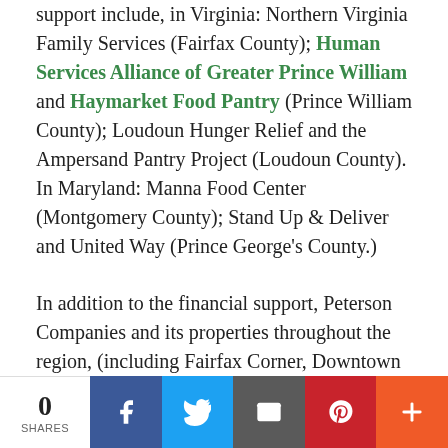support include, in Virginia: Northern Virginia Family Services (Fairfax County); Human Services Alliance of Greater Prince William and Haymarket Food Pantry (Prince William County); Loudoun Hunger Relief and the Ampersand Pantry Project (Loudoun County). In Maryland: Manna Food Center (Montgomery County); Stand Up & Deliver and United Way (Prince George's County.)
In addition to the financial support, Peterson Companies and its properties throughout the region, (including Fairfax Corner, Downtown Silver Spring, Rio and National Harbor,) will leverage its social media channels to create awareness for these organizations and encourage others to join
0 SHARES | Facebook | Twitter | Email | Pinterest | More